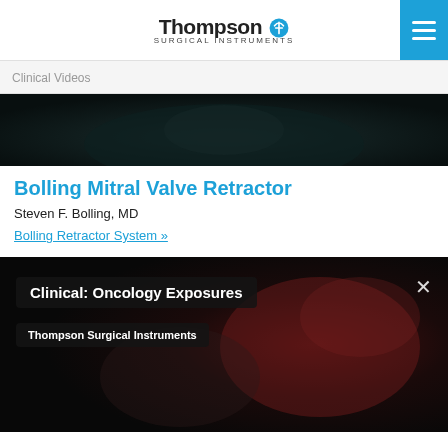Thompson Surgical Instruments
Clinical Videos
[Figure (screenshot): Dark surgical video frame at top of page]
Bolling Mitral Valve Retractor
Steven F. Bolling, MD
Bolling Retractor System »
[Figure (screenshot): Video player screenshot with overlay titles: Clinical: Oncology Exposures and Thompson Surgical Instruments, with close X button]